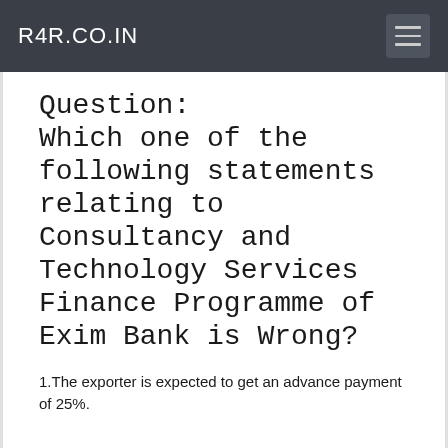R4R.CO.IN
Question:
Which one of the following statements relating to Consultancy and Technology Services Finance Programme of Exim Bank is Wrong?
1.The exporter is expected to get an advance payment of 25%.